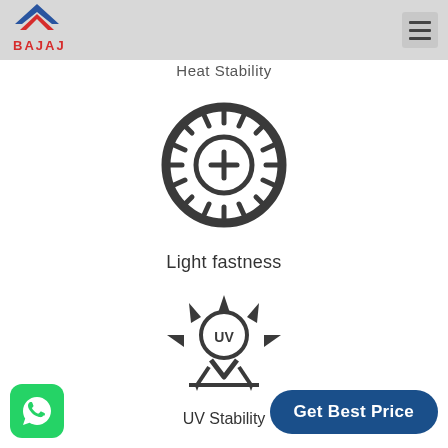[Figure (logo): Bajaj logo with blue and red chevron/house icon and BAJAJ text in red]
Heat Stability
[Figure (illustration): Sun/gear icon with plus symbol in center, representing Light fastness]
Light fastness
[Figure (illustration): UV stability icon: sun with UV text inside, arrow pointing down to a horizontal line]
UV Stability
[Figure (illustration): WhatsApp button icon (green rounded square with phone handset)]
Get Best Price